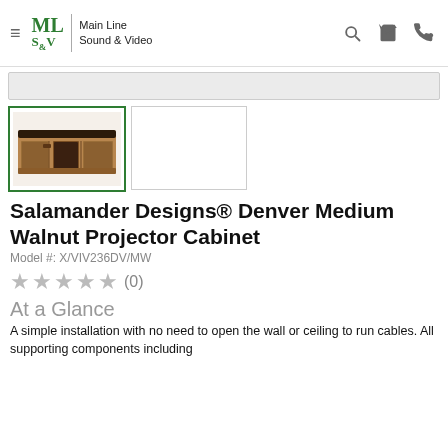ML S&V | Main Line Sound & Video
[Figure (photo): Thumbnail of Salamander Designs Denver Medium Walnut Projector Cabinet - a wide low wooden media cabinet with walnut finish]
[Figure (photo): Second thumbnail placeholder - white/empty]
Salamander Designs® Denver Medium Walnut Projector Cabinet
Model #: X/VIV236DV/MW
★ ★ ★ ★ ★ (0)
At a Glance
A simple installation with no need to open the wall or ceiling to run cables. All supporting components including